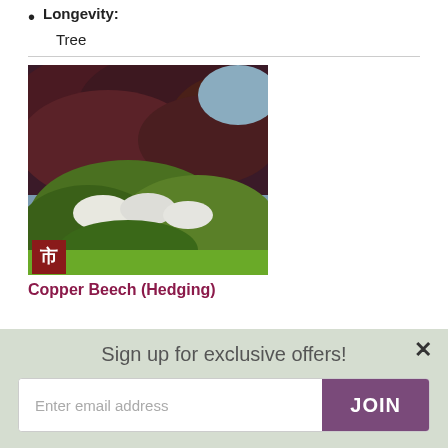Longevity: Tree
[Figure (photo): A copper beech hedge with dark reddish-purple foliage in the background, and green garden plants with white flowers in the foreground on a lawn.]
Copper Beech (Hedging)
Sign up for exclusive offers!
Enter email address
JOIN